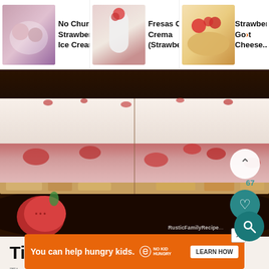[Figure (screenshot): Website navigation bar showing three recipe thumbnails: No Churn Strawberry Ice Cream, Fresas Con Crema (Strawberries...), and Strawberry and Goat Cheese...]
[Figure (photo): Close-up photo of strawberry ice cream bars on a dark plate, with crumb crust, strawberry filling, cream layers, and fresh strawberries. Watermark reads RusticFamilyRecipe. Overlaid UI: up chevron button, heart button in teal, count 67.]
Tips for Success
The... s are...
[Figure (screenshot): Orange advertisement banner: You can help hungry kids. No Kid Hungry logo. LEARN HOW button. Close X button.]
[Figure (screenshot): Teal circular search FAB button in bottom right corner.]